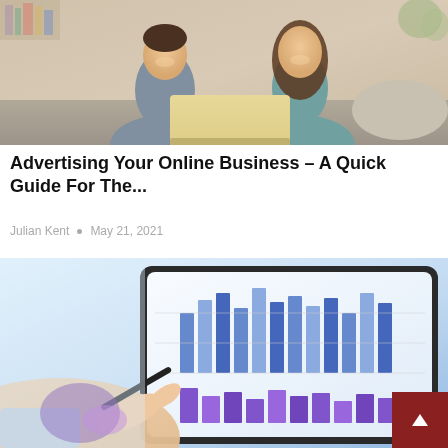[Figure (photo): A man and woman sitting on a sofa, laughing and looking at a laptop computer together]
Advertising Your Online Business – A Quick Guide For The...
Julian Kent  •  May 21, 2021
[Figure (photo): A hand pointing at a tablet screen displaying bar charts and graphs with blue colors, on a light background]